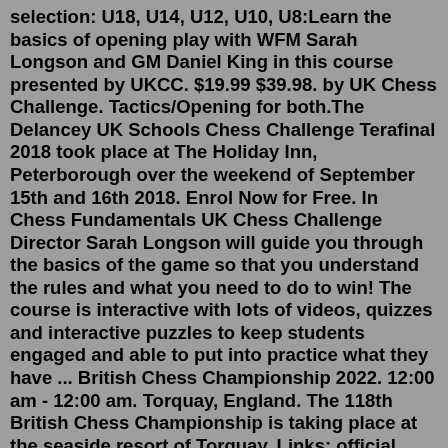selection: U18, U14, U12, U10, U8:Learn the basics of opening play with WFM Sarah Longson and GM Daniel King in this course presented by UKCC. $19.99 $39.98. by UK Chess Challenge. Tactics/Opening for both.The Delancey UK Schools Chess Challenge Terafinal 2018 took place at The Holiday Inn, Peterborough over the weekend of September 15th and 16th 2018. Enrol Now for Free. In Chess Fundamentals UK Chess Challenge Director Sarah Longson will guide you through the basics of the game so that you understand the rules and what you need to do to win! The course is interactive with lots of videos, quizzes and interactive puzzles to keep students engaged and able to put into practice what they have ... British Chess Championship 2022. 12:00 am - 12:00 am. Torquay, England. The 118th British Chess Championship is taking place at the seaside resort of Torquay. Links: official website 2,802 total views, 34 views today. Jul 07, 2022 · Chess-Results.com is a powerful and dedicated server only for chess results. The tournament archive of chess